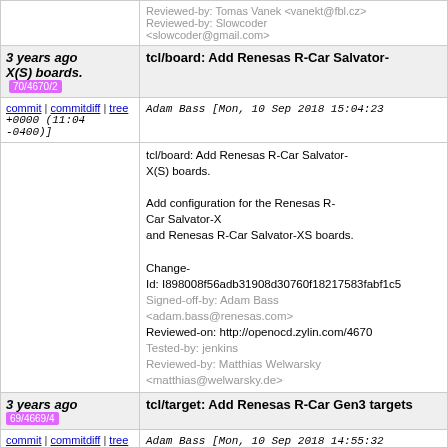Reviewed-by: Tomas Vanek <vanekt@fbl.cz>
Reviewed-by: Slowcoder <slowcoder@gmail.com>
3 years ago
tcl/board: Add Renesas R-Car Salvator-X(S) boards. 70/4670/2
commit | commitdiff | tree +0000 (11:04 -0400)]
Adam Bass [Mon, 10 Sep 2018 15:04:23 +0000 (11:04 -0400)]
tcl/board: Add Renesas R-Car Salvator-X(S) boards.

Add configuration for the Renesas R-Car Salvator-X
and Renesas R-Car Salvator-XS boards.

Change-Id: I898008f56adb31908d30760f18217583fabf1c5
Signed-off-by: Adam Bass <adam.bass@renesas.com>
Reviewed-on: http://openocd.zylin.com/4670
Tested-by: jenkins
Reviewed-by: Matthias Welwarsky <matthias@welwarsky.de>
3 years ago
tcl/target: Add Renesas R-Car Gen3 targets
69/4669/4
commit | commitdiff | tree
Adam Bass [Mon, 10 Sep 2018 14:55:32 +0000 (10:55 -0400)]